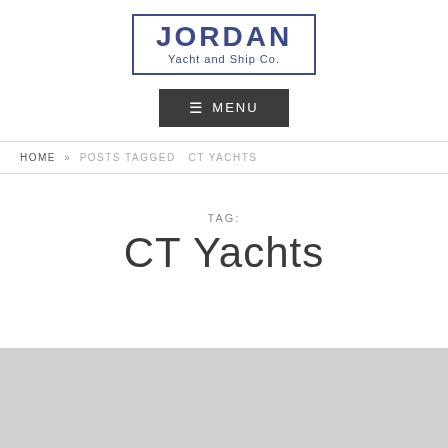[Figure (logo): Jordan Yacht and Ship Co. logo — blue rectangular border with JORDAN in bold blue letters and 'Yacht and Ship Co.' in smaller blue text below]
☰ MENU
HOME » POSTS TAGGED  CT YACHTS
TAG:
CT Yachts